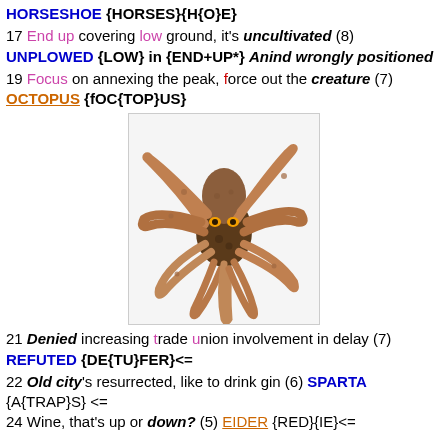HORSESHOE {HORSES}{H{O}E}
17 End up covering low ground, it's uncultivated (8)
UNPLOWED {LOW} in {END+UP*} Anind wrongly positioned
19 Focus on annexing the peak, force out the creature (7)
OCTOPUS {fOC{TOP}US}
[Figure (photo): Photograph of an octopus with reddish-brown tentacles spread out against a white background]
21 Denied increasing trade union involvement in delay (7)
REFUTED {DE{TU}FER}<=
22 Old city's resurrected, like to drink gin (6) SPARTA {A{TRAP}S} <=
24 Wine, that's up or down? (5) EIDER {RED}{IE}<=